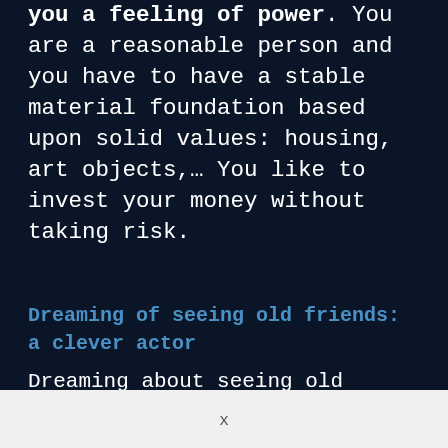you a feeling of power. You are a reasonable person and you have to have a stable material foundation based upon solid values: housing, art objects,… You like to invest your money without taking risk.
Dreaming of seeing old friends: a clever actor
Dreaming about seeing old friends…
x